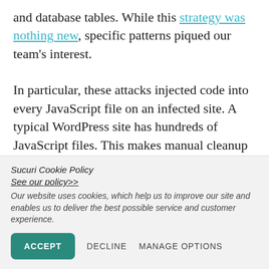and database tables. While this strategy was nothing new, specific patterns piqued our team's interest.

In particular, these attacks injected code into every JavaScript file on an infected site. A typical WordPress site has hundreds of JavaScript files. This makes manual cleanup a daunting task. On one day, our team removed this malware from more than 50,000 infected JavaScript files.
Sucuri Cookie Policy
See our policy>>
Our website uses cookies, which help us to improve our site and enables us to deliver the best possible service and customer experience.
ACCEPT  DECLINE  MANAGE OPTIONS